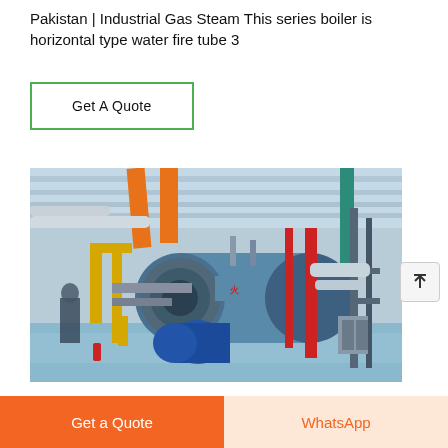Pakistan | Industrial Gas Steam This series boiler is horizontal type water fire tube 3
Get A Quote
[Figure (photo): Industrial boiler room with a large horizontal gas steam boiler in gray/blue color, yellow piping and supports, orange overhead pipes, red vertical pipes, and a blue motor/pump unit on the left side. The facility has a polished light blue floor and metal ceiling structure.]
Get a Quote
WhatsApp